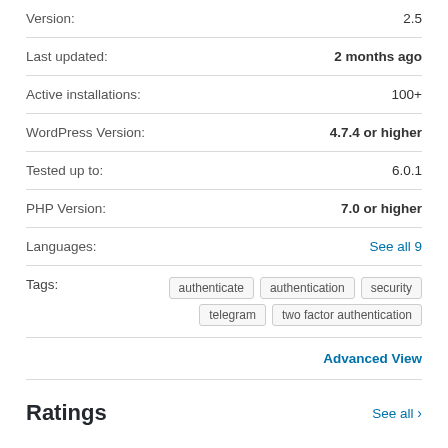Version: 2.5
Last updated: 2 months ago
Active installations: 100+
WordPress Version: 4.7.4 or higher
Tested up to: 6.0.1
PHP Version: 7.0 or higher
Languages: See all 9
Tags: authenticate  authentication  security  telegram  two factor authentication
Advanced View
Ratings
See all >